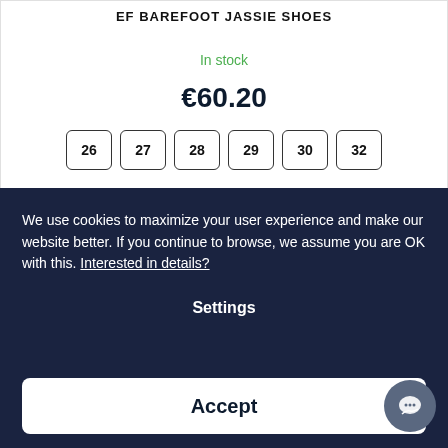EF BAREFOOT JASSIE SHOES
In stock
€60.20
26
27
28
29
30
32
We use cookies to maximize your user experience and make our website better. If you continue to browse, we assume you are OK with this. Interested in details?
Settings
Accept